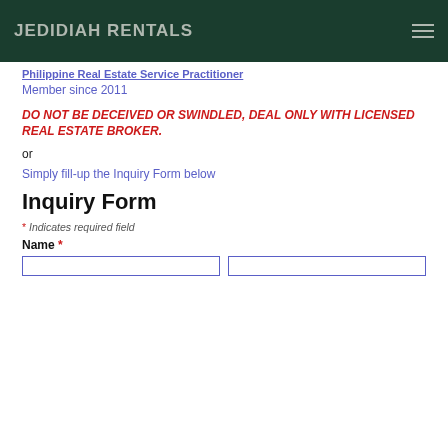JEDIDIAH RENTALS
Philippine Real Estate Service Practitioner
Member since 2011
DO NOT BE DECEIVED OR SWINDLED, DEAL ONLY WITH LICENSED REAL ESTATE BROKER.
or
Simply fill-up the Inquiry Form below
Inquiry Form
* Indicates required field
Name *